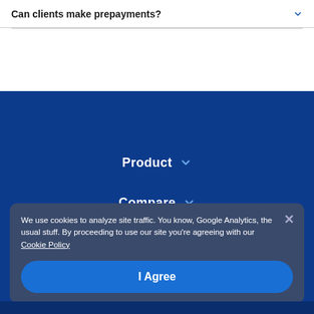Can clients make prepayments?
Product
Compare
Company
We use cookies to analyze site traffic. You know, Google Analytics, the usual stuff. By proceeding to use our site you're agreeing with our Cookie Policy
I Agree